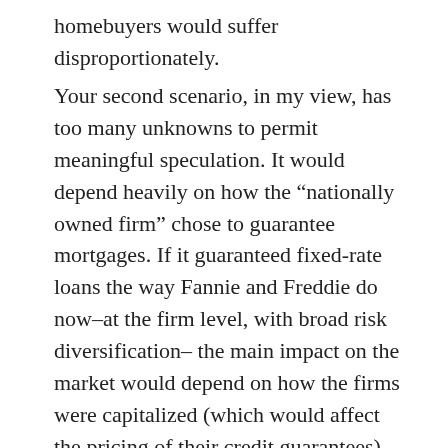homebuyers would suffer disproportionately.
Your second scenario, in my view, has too many unknowns to permit meaningful speculation. It would depend heavily on how the “nationally owned firm” chose to guarantee mortgages. If it guaranteed fixed-rate loans the way Fannie and Freddie do now–at the firm level, with broad risk diversification– the main impact on the market would depend on how the firms were capitalized (which would affect the pricing of their credit guarantees) and how they were regulated (here I’m thinking primarily about affordable housing initiatives). But even here there are unknowns, with the main one being the transition from the existing system (which has $5 trillion in Fannie and Freddie mortgages) to any new system.